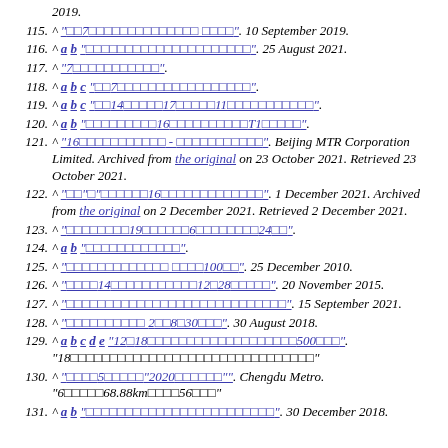2019.
115. ^ "□□7□□□□□□□□□□□□□□ □□□□". 10 September 2019.
116. ^ a b "□□□□□□□□□□□□□□□□□□□□□". 25 August 2021.
117. ^ "7□□□□□□□□□□□".
118. ^ a b c "□□7□□□□□□□□□□□□□□□□□".
119. ^ a b c "□□14□□□□□□17□□□□□11□□□□□□□□□□□".
120. ^ a b "□□□□□□□□□16□□□□□□□□□□T1□□□□□".
121. ^ "16□□□□□□□□□□□ - □□□□□□□□□□□". Beijing MTR Corporation Limited. Archived from the original on 23 October 2021. Retrieved 23 October 2021.
122. ^ "□□"□"□□□□□□16□□□□□□□□□□□□□". 1 December 2021. Archived from the original on 2 December 2021. Retrieved 2 December 2021.
123. ^ "□□□□□□□□19□□□□□□6□□□□□□□□24□□".
124. ^ a b "□□□□□□□□□□□□".
125. ^ "□□□□□□□□□□□□□ □□□□100□□". 25 December 2010.
126. ^ "□□□□14□□□□□□□□□□□12□28□□□□□". 20 November 2015.
127. ^ "□□□□□□□□□□□□□□□□□□□□□□□□□□□□". 15 September 2021.
128. ^ "□□□□□□□□□□ 2□□8□30□□□". 30 August 2018.
129. ^ a b c d e "12□18□□□□□□□□□□□□□□□□□□□500□□□". "18□□□□□□□□□□□□□□□□□□□□□□□□□□□□□□□"
130. ^ "□□□□5□□□□□"2020□□□□□□"". Chengdu Metro. "6□□□□□68.88km□□□□56□□□"
131. ^ a b "..." 30 December 2018.